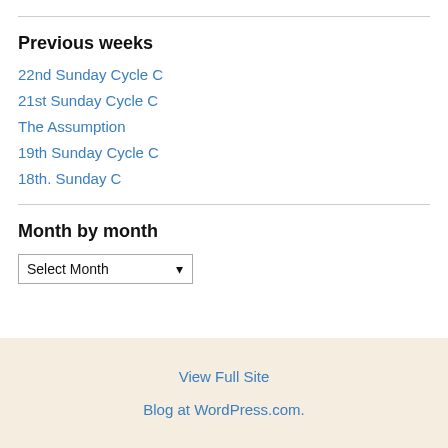Previous weeks
22nd Sunday Cycle C
21st Sunday Cycle C
The Assumption
19th Sunday Cycle C
18th. Sunday C
Month by month
Select Month
View Full Site
Blog at WordPress.com.